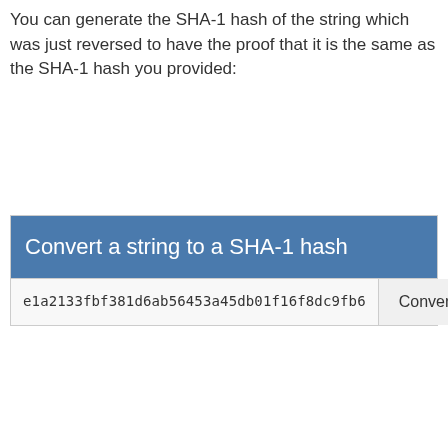You can generate the SHA-1 hash of the string which was just reversed to have the proof that it is the same as the SHA-1 hash you provided:
[Figure (screenshot): A web widget titled 'Convert a string to a SHA-1 hash' with a blue header, an input field containing 'e1a2133fbf381d6ab56453a45db01f16f8dc9fb6', and a Convert button.]